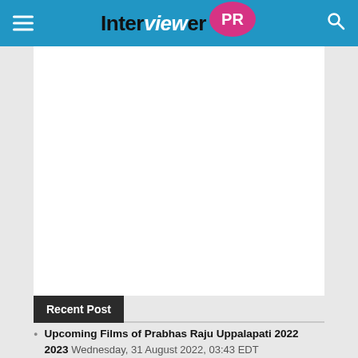Interviewer PR
[Figure (other): Advertisement / blank white content area]
Recent Post
Upcoming Films of Prabhas Raju Uppalapati 2022 2023 Wednesday, 31 August 2022, 03:43 EDT